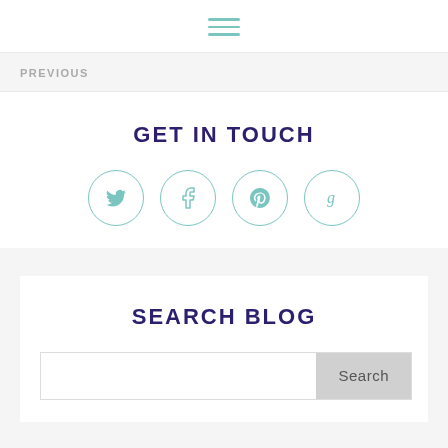hamburger menu icon
PREVIOUS
GET IN TOUCH
[Figure (infographic): Four social media icons in circular outlines: Twitter (bird), Facebook (f), Pinterest (p), Goodreads (g) — teal/seafoam colored]
SEARCH BLOG
Search bar with Search button